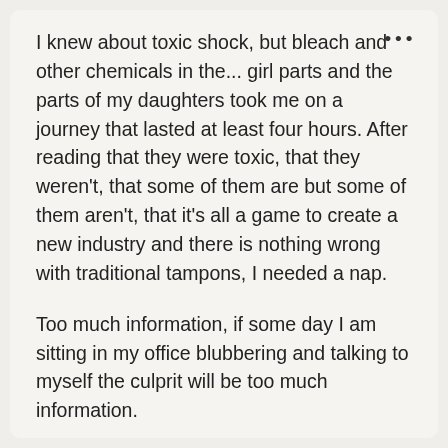I knew about toxic shock, but bleach and other chemicals in the... girl parts and the parts of my daughters took me on a journey that lasted at least four hours. After reading that they were toxic, that they weren't, that some of them are but some of them aren't, that it's all a game to create a new industry and there is nothing wrong with traditional tampons, I needed a nap.
Too much information, if some day I am sitting in my office blubbering and talking to myself the culprit will be too much information.